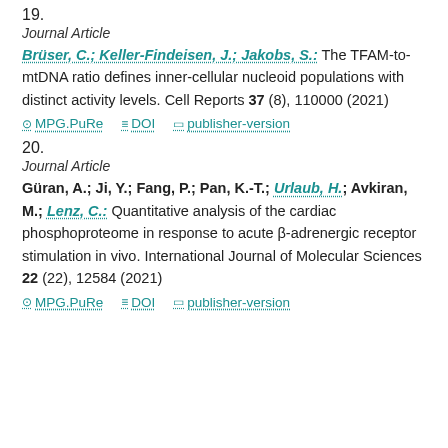19.
Journal Article
Brüser, C.; Keller-Findeisen, J.; Jakobs, S.: The TFAM-to-mtDNA ratio defines inner-cellular nucleoid populations with distinct activity levels. Cell Reports 37 (8), 110000 (2021)
MPG.PuRe   DOI   publisher-version
20.
Journal Article
Güran, A.; Ji, Y.; Fang, P.; Pan, K.-T.; Urlaub, H.; Avkiran, M.; Lenz, C.: Quantitative analysis of the cardiac phosphoproteome in response to acute β-adrenergic receptor stimulation in vivo. International Journal of Molecular Sciences 22 (22), 12584 (2021)
MPG.PuRe   DOI   publisher-version